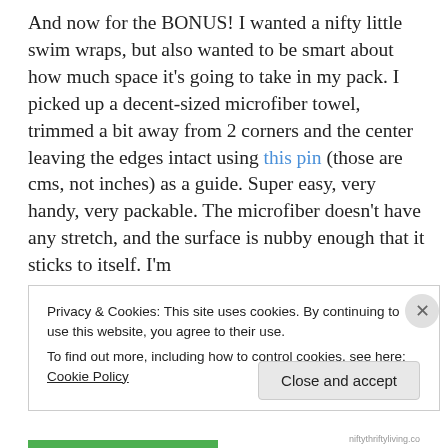And now for the BONUS! I wanted a nifty little swim wraps, but also wanted to be smart about how much space it's going to take in my pack. I picked up a decent-sized microfiber towel, trimmed a bit away from 2 corners and the center leaving the edges intact using this pin (those are cms, not inches) as a guide. Super easy, very handy, very packable. The microfiber doesn't have any stretch, and the surface is nubby enough that it sticks to itself. I'm
Privacy & Cookies: This site uses cookies. By continuing to use this website, you agree to their use.
To find out more, including how to control cookies, see here: Cookie Policy
Close and accept